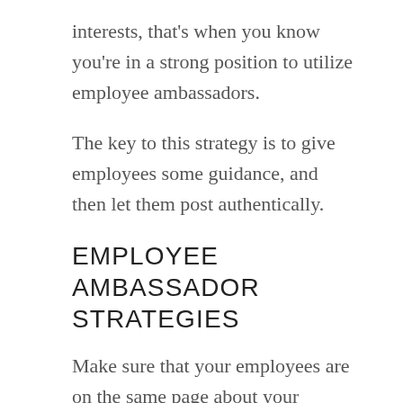interests, that's when you know you're in a strong position to utilize employee ambassadors.
The key to this strategy is to give employees some guidance, and then let them post authentically.
EMPLOYEE AMBASSADOR STRATEGIES
Make sure that your employees are on the same page about your company's vision and value proposition for candidates. An employer brand needs to be consistent and accurate. At the same time, employees will put the message out there in their own words, and you don't